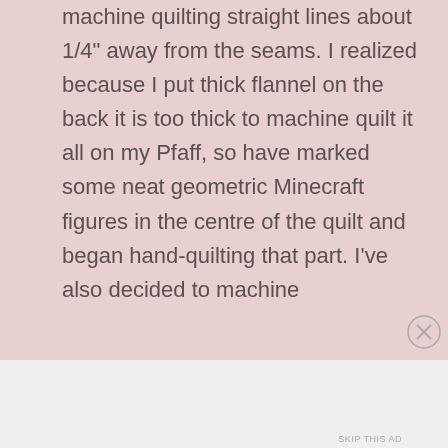machine quilting straight lines about 1/4" away from the seams. I realized because I put thick flannel on the back it is too thick to machine quilt it all on my Pfaff, so have marked some neat geometric Minecraft figures in the centre of the quilt and began hand-quilting that part. I've also decided to machine
Advertisements